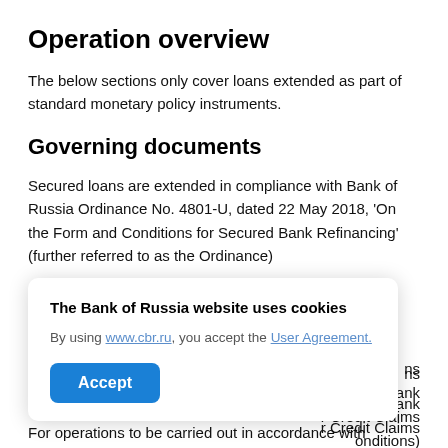Operation overview
The below sections only cover loans extended as part of standard monetary policy instruments.
Governing documents
Secured loans are extended in compliance with Bank of Russia Ordinance No. 4801-U, dated 22 May 2018, 'On the Form and Conditions for Secured Bank Refinancing' (further referred to as the Ordinance) … ns … mption of Bank … r Credit Claims … onditions)
[Figure (screenshot): Cookie consent popup overlay. Title: 'The Bank of Russia website uses cookies'. Body: 'By using www.cbr.ru, you accept the User Agreement.' Accept button in blue.]
For operations to be carried out in accordance with